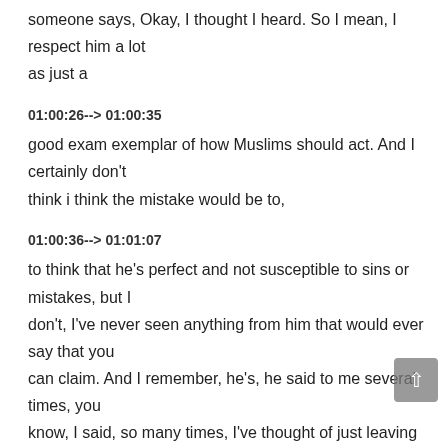someone says, Okay, I thought I heard. So I mean, I respect him a lot as just a
01:00:26--> 01:00:35
good exam exemplar of how Muslims should act. And I certainly don't think i think the mistake would be to,
01:00:36--> 01:01:07
to think that he's perfect and not susceptible to sins or mistakes, but I don't, I've never seen anything from him that would ever say that you can claim. And I remember, he's, he said to me several times, you know, I said, so many times, I've thought of just leaving Dallas, leaving this calling mission. And just going back to what, and I remember there was times where I mean, it would be the guy has an endless energy, I mean, you, he seeks only a few hours, if you want to travel